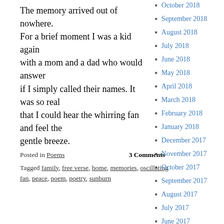The memory arrived out of nowhere.
For a brief moment I was a kid again
with a mom and a dad who would answer
if I simply called their names. It was so real
that I could hear the whirring fan and feel the
gentle breeze.
Posted in Poems   3 Comments
Tagged family, free verse, home, memories, oscillating fan, peace, poem, poetry, sunburn
October 2018
September 2018
August 2018
July 2018
June 2018
May 2018
April 2018
March 2018
February 2018
January 2018
December 2017
November 2017
October 2017
September 2017
August 2017
July 2017
June 2017
May 2017